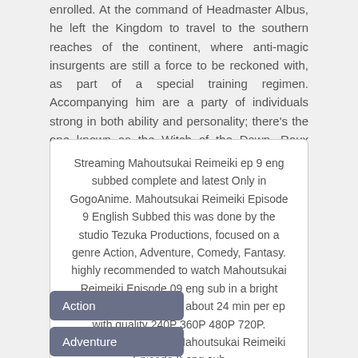enrolled. At the command of Headmaster Albus, he left the Kingdom to travel to the southern reaches of the continent, where anti-magic insurgents are still a force to be reckoned with, as part of a special training regimen. Accompanying him are a party of individuals strong in both ability and personality; there's the one known as the Witch of the Dawn, Roux Cristasse, who seeks the forbidden knowledge of primeval magic in the "Grimoire of Zero," the genius girl Holtz, as well as the school's sole beast, Kudd.Just what truth shall they uncover in their journey to the south...?
Streaming Mahoutsukai Reimeiki ep 9 eng subbed complete and latest Only in GogoAnime. Mahoutsukai Reimeiki Episode 9 English Subbed this was done by the studio Tezuka Productions, focused on a genre Action, Adventure, Comedy, Fantasy. highly recommended to watch Mahoutsukai Reimeiki Episode 09 eng sub in a bright room because it takes about 24 min per ep with quality 240P 360P 480P 720P. 9animetv, kissanime Mahoutsukai Reimeiki Episode 9 eng sub
Action
Adventure
Comedy
Fantasy